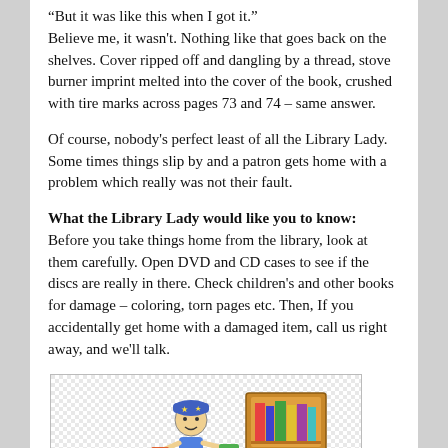"But it was like this when I got it." Believe me, it wasn't. Nothing like that goes back on the shelves. Cover ripped off and dangling by a thread, stove burner imprint melted into the cover of the book, crushed with tire marks across pages 73 and 74 – same answer.
Of course, nobody's perfect least of all the Library Lady. Some times things slip by and a patron gets home with a problem which really was not their fault.
What the Library Lady would like you to know: Before you take things home from the library, look at them carefully. Open DVD and CD cases to see if the discs are really in there. Check children's and other books for damage – coloring, torn pages etc. Then, If you accidentally get home with a damaged item, call us right away, and we'll talk.
[Figure (illustration): Cartoon illustration of a person reading or interacting with books and a bookshelf, in a library setting. Checkered background pattern.]